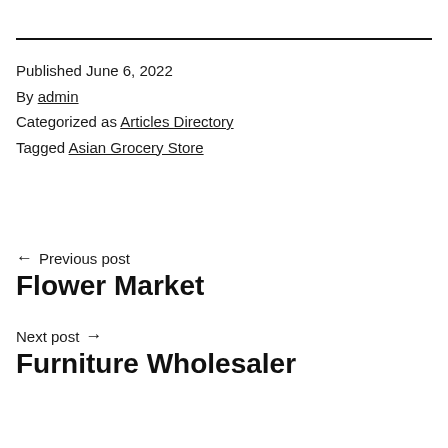Published June 6, 2022
By admin
Categorized as Articles Directory
Tagged Asian Grocery Store
← Previous post
Flower Market
Next post →
Furniture Wholesaler